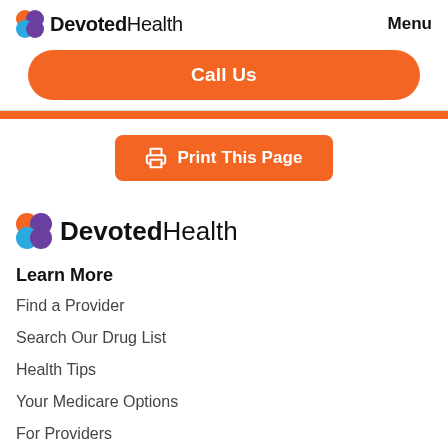DevotedHealth  Menu
Call Us
[Figure (other): Print This Page button with printer icon]
[Figure (logo): DevotedHealth logo (larger version)]
Learn More
Find a Provider
Search Our Drug List
Health Tips
Your Medicare Options
For Providers